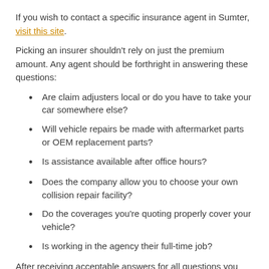If you wish to contact a specific insurance agent in Sumter, visit this site.
Picking an insurer shouldn't rely on just the premium amount. Any agent should be forthright in answering these questions:
Are claim adjusters local or do you have to take your car somewhere else?
Will vehicle repairs be made with aftermarket parts or OEM replacement parts?
Is assistance available after office hours?
Does the company allow you to choose your own collision repair facility?
Do the coverages you're quoting properly cover your vehicle?
Is working in the agency their full-time job?
After receiving acceptable answers for all questions you ask and an affordable coverage quote, it's possible that you found an provider that will service your policy.